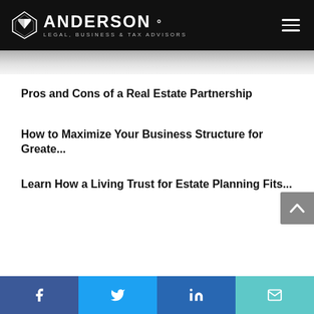ANDERSON LEGAL, BUSINESS & TAX ADVISORS
Pros and Cons of a Real Estate Partnership
How to Maximize Your Business Structure for Greate...
Learn How a Living Trust for Estate Planning Fits...